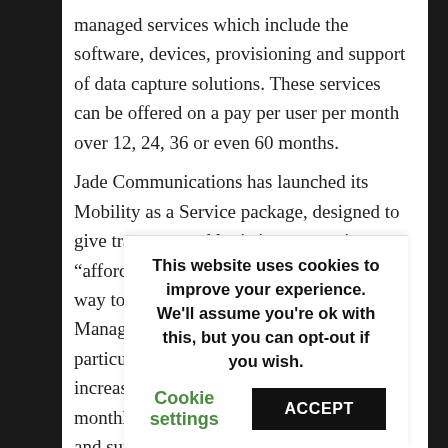managed services which include the software, devices, provisioning and support of data capture solutions. These services can be offered on a pay per user per month over 12, 24, 36 or even 60 months. Jade Communications has launched its Mobility as a Service package, designed to give transport and logistics companies an “afffordable, hassle-free, quick and easy way to implement mobile technology”. Managing director Mark Brackley says this particular package is becoming increasingly popular as users can pay monthly and it helps reduce maintenance and support costs.
This website uses cookies to improve your experience. We'll assume you're ok with this, but you can opt-out if you wish.
Cookie settings   ACCEPT